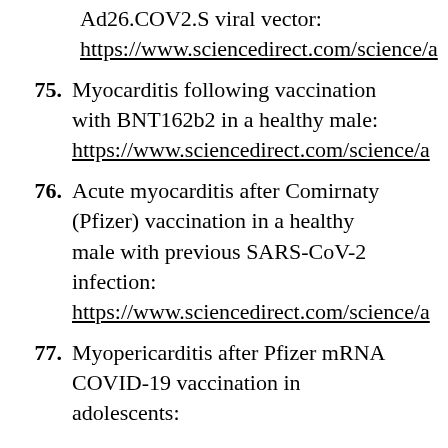Ad26.COV2.S viral vector: https://www.sciencedirect.com/science/a
75. Myocarditis following vaccination with BNT162b2 in a healthy male: https://www.sciencedirect.com/science/a
76. Acute myocarditis after Comirnaty (Pfizer) vaccination in a healthy male with previous SARS-CoV-2 infection: https://www.sciencedirect.com/science/a
77. Myopericarditis after Pfizer mRNA COVID-19 vaccination in adolescents: